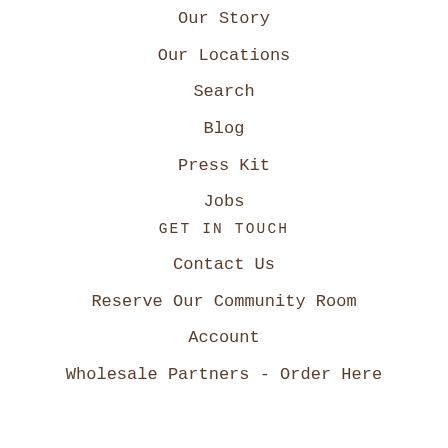Our Story
Our Locations
Search
Blog
Press Kit
Jobs
GET IN TOUCH
Contact Us
Reserve Our Community Room
Account
Wholesale Partners - Order Here